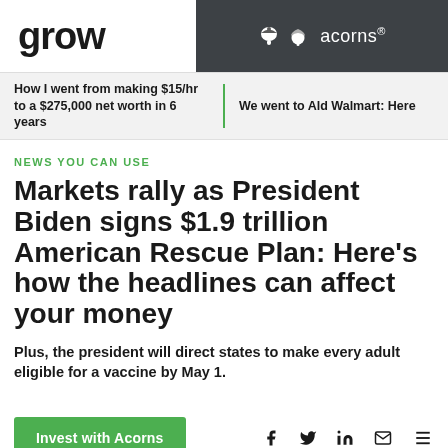grow | acorns®
How I went from making $15/hr to a $275,000 net worth in 6 years
We went to Ald Walmart: Here
NEWS YOU CAN USE
Markets rally as President Biden signs $1.9 trillion American Rescue Plan: Here's how the headlines can affect your money
Plus, the president will direct states to make every adult eligible for a vaccine by May 1.
Invest with Acorns